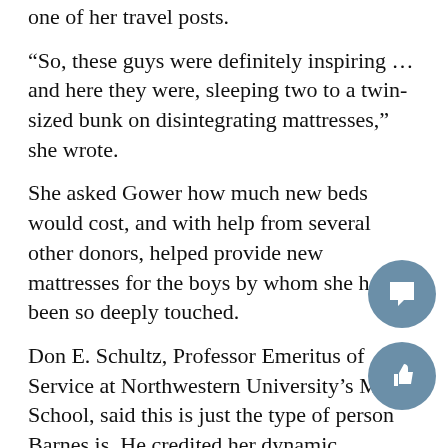one of her travel posts.
“So, these guys were definitely inspiring … and here they were, sleeping two to a twin-sized bunk on disintegrating mattresses,” she wrote.
She asked Gower how much new beds would cost, and with help from several other donors, helped provide new mattresses for the boys by whom she had been so deeply touched.
Don E. Schultz, Professor Emeritus of Service at Northwestern University’s Medill School, said this is just the type of person Barnes is. He credited her dynamic personality and the way she can be personable with anyone for her success.
“Everybody likes her,” he added.
Barnes and Schultz first met when she attended Northwestern University, where she …